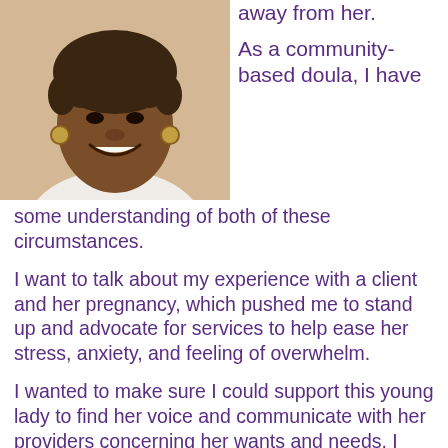[Figure (photo): Headshot of a smiling Black woman with short curly hair and hoop earrings, wearing a white top, photographed against a light background.]
away from her.

As a community-based doula, I have
some understanding of both of these circumstances.
I want to talk about my experience with a client and her pregnancy, which pushed me to stand up and advocate for services to help ease her stress, anxiety, and feeling of overwhelm.
I wanted to make sure I could support this young lady to find her voice and communicate with her providers concerning her wants and needs. I went with her to a meeting with her case management agency, for support, so that she would know someone was with her and walking alongside her regardless.